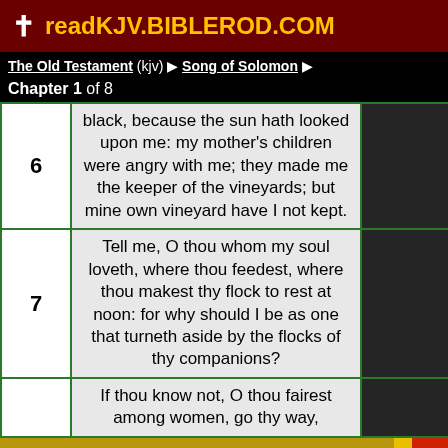✝ readKJV.BIBLEROD.COM
The Old Testament (kjv) ▶ Song of Solomon ▶
Chapter 1 of 8
| Verse | Text |
| --- | --- |
| 6 | black, because the sun hath looked upon me: my mother's children were angry with me; they made me the keeper of the vineyards; but mine own vineyard have I not kept. |
| 7 | Tell me, O thou whom my soul loveth, where thou feedest, where thou makest thy flock to rest at noon: for why should I be as one that turneth aside by the flocks of thy companions? |
|  | If thou know not, O thou fairest among women, go thy way, |
17 Verses in Ch. 1   ↩ Chapter   Ch 2 ▶